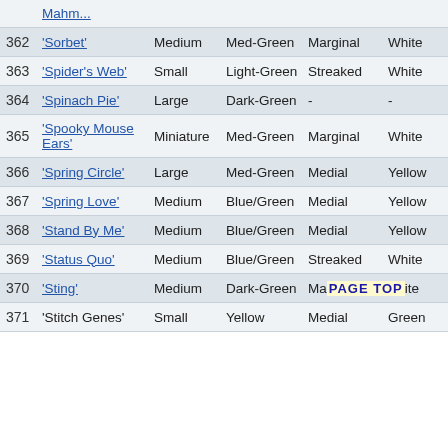| # | Name | Size | Color | Variegation | Margin Color |
| --- | --- | --- | --- | --- | --- |
| 362 | 'Sorbet' | Medium | Med-Green | Marginal | White |
| 363 | 'Spider's Web' | Small | Light-Green | Streaked | White |
| 364 | 'Spinach Pie' | Large | Dark-Green | - | - |
| 365 | 'Spooky Mouse Ears' | Miniature | Med-Green | Marginal | White |
| 366 | 'Spring Circle' | Large | Med-Green | Medial | Yellow |
| 367 | 'Spring Love' | Medium | Blue/Green | Medial | Yellow |
| 368 | 'Stand By Me' | Medium | Blue/Green | Medial | Yellow |
| 369 | 'Status Quo' | Medium | Blue/Green | Streaked | White |
| 370 | 'Sting' | Medium | Dark-Green | Ma[PAGE TOP] | ite |
| 371 | 'Stitch Genes' | Small | Yellow | Medial | Green |